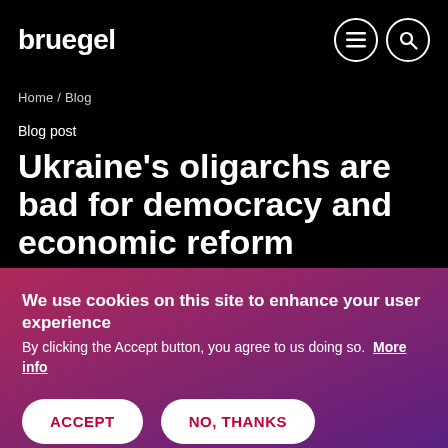bruegel
Home / Blog
Blog post
Ukraine's oligarchs are bad for democracy and economic reform
We use cookies on this site to enhance your user experience
By clicking the Accept button, you agree to us doing so. More info
ACCEPT
NO, THANKS